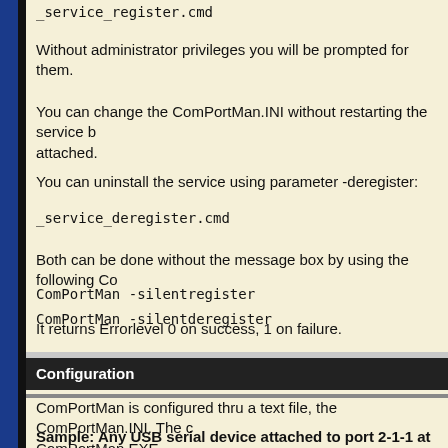_service_register.cmd
Without administrator privileges you will be prompted for them.
You can change the ComPortMan.INI without restarting the service b... attached.
You can uninstall the service using parameter -deregister:
_service_deregister.cmd
Both can be done without the message box by using the following Co...
ComPortMan -silentregister
ComPortMan -silentderegister
It returns Errorlevel 0 on success, 1 on failure.
You can stop and start the installed service by means of the _service...
Configuration
ComPortMan is configured thru a text file, the ComPortMan.INI. The ... ComPortMan.EXE.
If required, read at Wikipedia how INI files work.
Sample: Any USB serial device attached to port 2-1-1 at COM7...